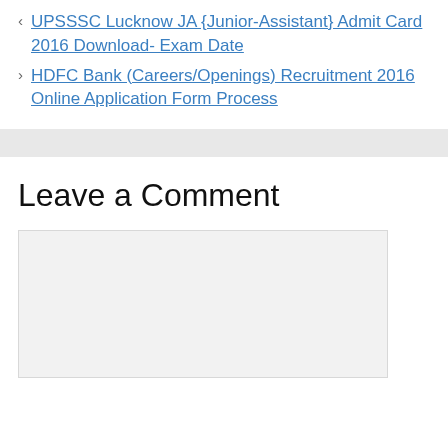< UPSSSC Lucknow JA {Junior-Assistant} Admit Card 2016 Download- Exam Date
> HDFC Bank (Careers/Openings) Recruitment 2016 Online Application Form Process
Leave a Comment